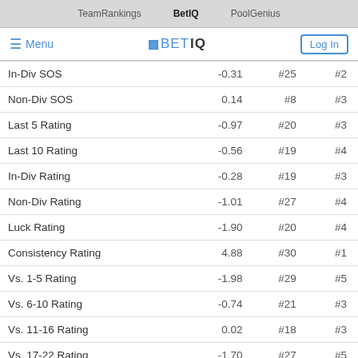TeamRankings  BetIQ  PoolGenius
|  |  |  |  |
| --- | --- | --- | --- |
| In-Div SOS | -0.31 | #25 | #2 |
| Non-Div SOS | 0.14 | #8 | #3 |
| Last 5 Rating | -0.97 | #20 | #3 |
| Last 10 Rating | -0.56 | #19 | #4 |
| In-Div Rating | -0.28 | #19 | #3 |
| Non-Div Rating | -1.01 | #27 | #4 |
| Luck Rating | -1.90 | #20 | #4 |
| Consistency Rating | 4.88 | #30 | #1 |
| Vs. 1-5 Rating | -1.98 | #29 | #5 |
| Vs. 6-10 Rating | -0.74 | #21 | #3 |
| Vs. 11-16 Rating | 0.02 | #18 | #3 |
| Vs. 17-22 Rating | -1.70 | #27 | #5 |
| Vs. 23-30 Rating | -0.12 | #21 | #3 |